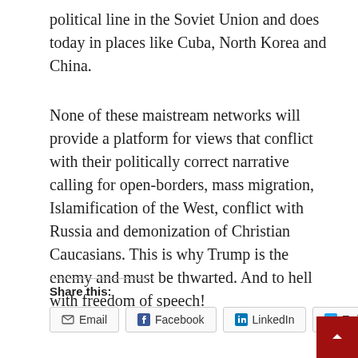political line in the Soviet Union and does today in places like Cuba, North Korea and China.
None of these maistream networks will provide a platform for views that conflict with their politically correct narrative calling for open-borders, mass migration, Islamification of the West, conflict with Russia and demonization of Christian Caucasians. This is why Trump is the enemy and must be thwarted. And to hell with freedom of speech!
Share this: